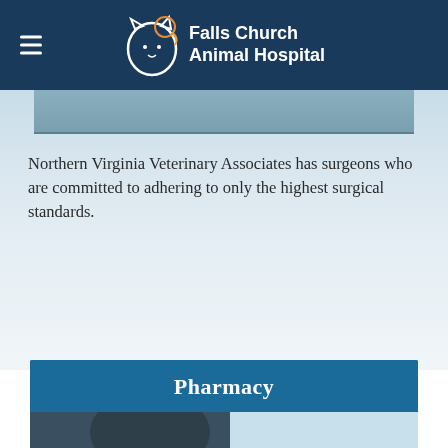Falls Church Animal Hospital
[Figure (photo): Partial view of a veterinary surgical or examination scene with blurred background in blue-gray tones]
Northern Virginia Veterinary Associates has surgeons who are committed to adhering to only the highest surgical standards.
Pharmacy
[Figure (photo): Partial view of a person, presumably a pharmacist or veterinary staff, in blue-lit environment]